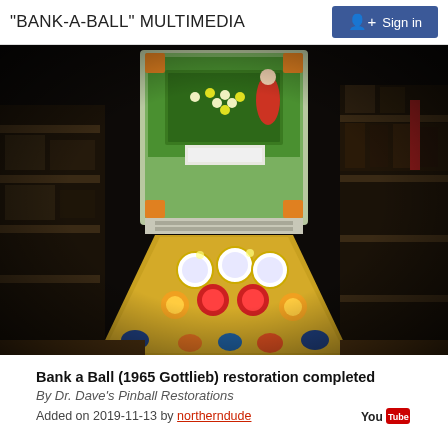"BANK-A-BALL" MULTIMEDIA
Sign in
[Figure (photo): A pinball machine (Bank a Ball, 1965 Gottlieb) in a workshop/garage setting, showing the backglass with a billiards scene and the illuminated playfield with colorful bumpers and artwork. Shelving with parts visible in background.]
Bank a Ball (1965 Gottlieb) restoration completed
By Dr. Dave's Pinball Restorations
Added on 2019-11-13 by northerndude